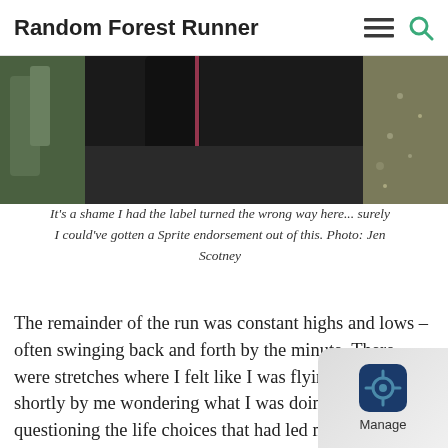Random Forest Runner
[Figure (photo): Cropped photo of a runner's legs in black tights on a path, with greenery on the left side.]
It's a shame I had the label turned the wrong way here... surely I could've gotten a Sprite endorsement out of this. Photo: Jen Scotney
The remainder of the run was constant highs and lows – often swinging back and forth by the minute. There were stretches where I felt like I was flying, followed shortly by me wondering what I was doing and questioning the life choices that had led me to do it. Th climb up Stoodley Pike felt endless, but I w spurred on by another fount of seeming endless positive energy: Danny Bent. W